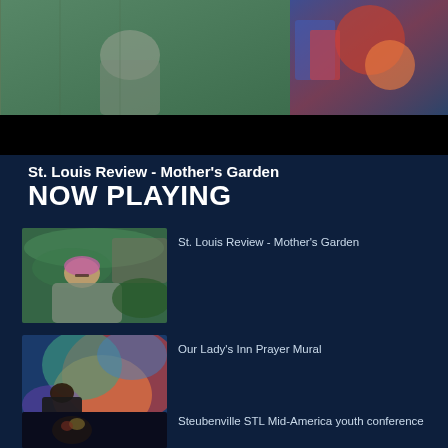[Figure (photo): Top banner showing a person in a grey t-shirt in a garden (left) and colorful artwork/mural (right), with a black bar below]
St. Louis Review - Mother's Garden
NOW PLAYING
[Figure (photo): Thumbnail of a woman smiling in a garden wearing a colorful headwrap and grey t-shirt]
St. Louis Review - Mother's Garden
[Figure (photo): Thumbnail of a person painting a large colorful mural with swirling colors on the floor]
Our Lady's Inn Prayer Mural
[Figure (photo): Thumbnail of a dark scene at what appears to be a youth conference]
Steubenville STL Mid-America youth conference